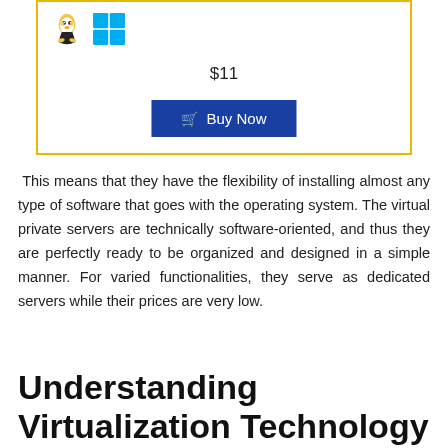[Figure (other): Product card box with Linux and Windows OS icons, price $11, and a Buy Now button]
This means that they have the flexibility of installing almost any type of software that goes with the operating system. The virtual private servers are technically software-oriented, and thus they are perfectly ready to be organized and designed in a simple manner. For varied functionalities, they serve as dedicated servers while their prices are very low.
Understanding Virtualization Technology